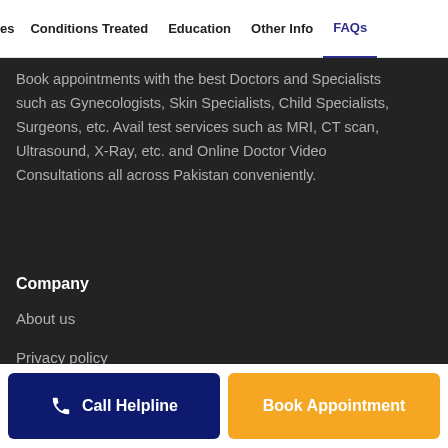es   Conditions Treated   Education   Other Info   FAQs
Book appointments with the best Doctors and Specialists such as Gynecologists, Skin Specialists, Child Specialists, Surgeons, etc. Avail test services such as MRI, CT scan, Ultrasound, X-Ray, etc. and Online Doctor Video Consultations all across Pakistan conveniently.
Company
About us
Privacy policy
Delivery Policy
Refund Policy
Payment Terms
Call Helpline   Book Appointment